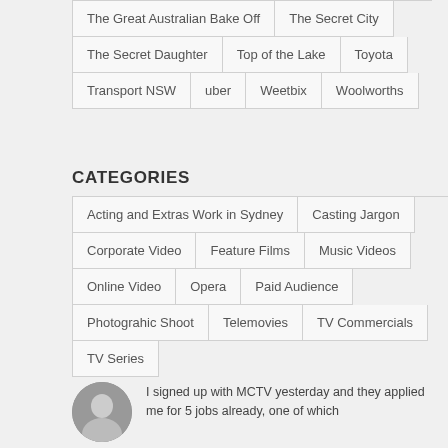The Great Australian Bake Off
The Secret City
The Secret Daughter
Top of the Lake
Toyota
Transport NSW
uber
Weetbix
Woolworths
CATEGORIES
Acting and Extras Work in Sydney
Casting Jargon
Corporate Video
Feature Films
Music Videos
Online Video
Opera
Paid Audience
Photograhic Shoot
Telemovies
TV Commercials
TV Series
I signed up with MCTV yesterday and they applied me for 5 jobs already, one of which